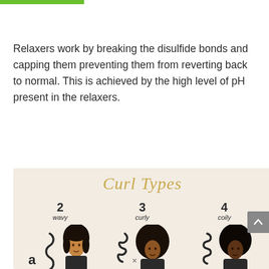Relaxers work by breaking the disulfide bonds and capping them preventing them from reverting back to normal. This is achieved by the high level of pH present in the relaxers.
[Figure (infographic): Curl Types infographic showing categories 2 (wavy), 3 (curly), and 4 (coily) with illustrated hair type icons and letter 'a' sub-type label, on a beige background with gold script title 'Curl Types']